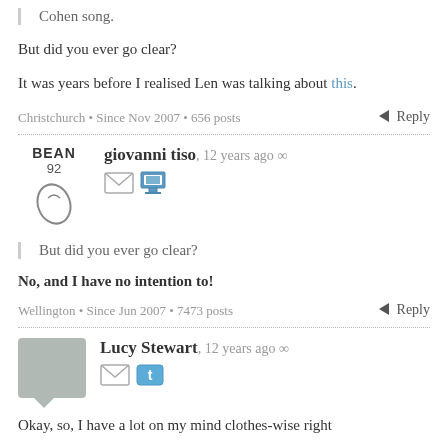Cohen song.
But did you ever go clear?
It was years before I realised Len was talking about this.
Christchurch • Since Nov 2007 • 656 posts
Reply
giovanni tiso, 12 years ago ∞
But did you ever go clear?
No, and I have no intention to!
Wellington • Since Jun 2007 • 7473 posts
Reply
Lucy Stewart, 12 years ago ∞
Okay, so, I have a lot on my mind clothes-wise right